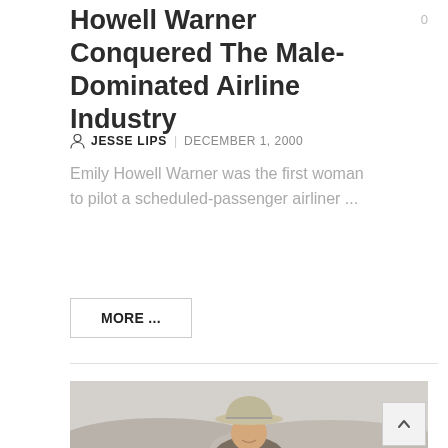Howell Warner Conquered The Male-Dominated Airline Industry
JESSE LIPS  |  DECEMBER 1, 2000
Emily Howell Warner was the first woman to pilot a scheduled-passenger airliner ...
MORE ...
[Figure (photo): A person wearing a cowboy hat smiling, photographed outdoors with hills/mountains in the background]